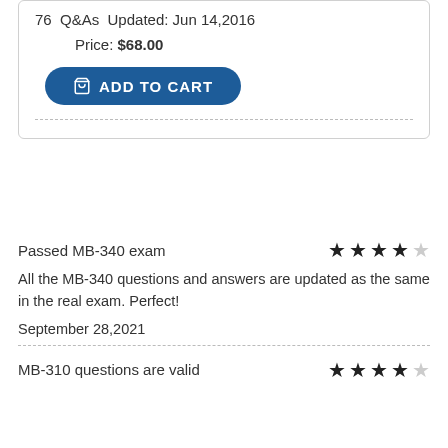76  Q&As  Updated: Jun 14,2016
Price: $68.00
ADD TO CART
Passed MB-340 exam
All the MB-340 questions and answers are updated as the same in the real exam. Perfect!
September 28,2021
MB-310 questions are valid